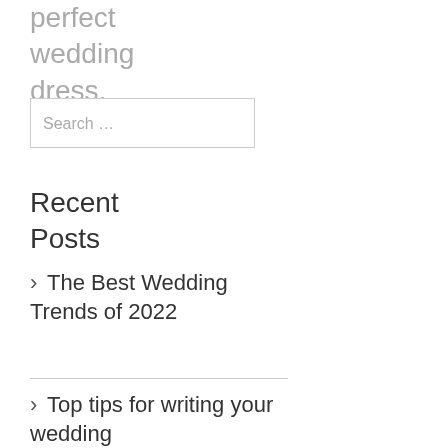perfect wedding dress.
Search …
Recent Posts
The Best Wedding Trends of 2022
Top tips for writing your wedding